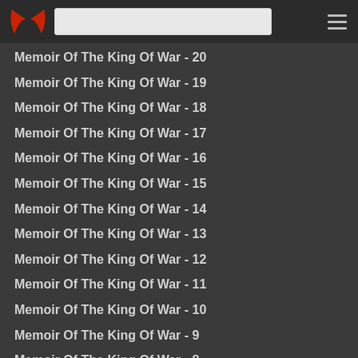[Logo] [Search box] [Menu icon]
Memoir Of The King Of War - 20
Memoir Of The King Of War - 19
Memoir Of The King Of War - 18
Memoir Of The King Of War - 17
Memoir Of The King Of War - 16
Memoir Of The King Of War - 15
Memoir Of The King Of War - 14
Memoir Of The King Of War - 13
Memoir Of The King Of War - 12
Memoir Of The King Of War - 11
Memoir Of The King Of War - 10
Memoir Of The King Of War - 9
Memoir Of The King Of War - 8
Memoir Of The King Of War - 7
Memoir Of The King Of War - 6